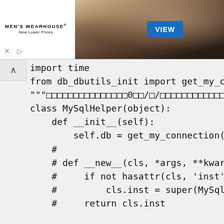[Figure (photo): Men's Wearhouse advertisement banner with a couple in formal wear, a man in a suit standing separately, a VIEW button, and ad controls (X and play button).]
import time
from db_dbutils_init import get_my_con
"""□□□□□□□□□□□□□□□0□□/□/□□□□□□□□□□□□□
class MySqlHelper(object):
    def __init__(self):
        self.db = get_my_connection()
    #
    # def __new__(cls, *args, **kwargs
    #     if not hasattr(cls, 'inst'):
    #         cls.inst = super(MySqlHe
    #     return cls.inst

    # □□□□□□
    def execute(self, sql, param=None,
        """